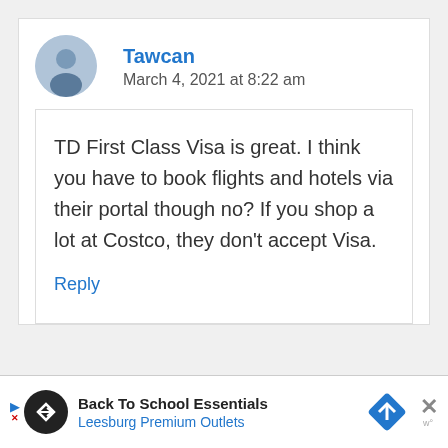Tawcan
March 4, 2021 at 8:22 am
TD First Class Visa is great. I think you have to book flights and hotels via their portal though no? If you shop a lot at Costco, they don’t accept Visa.
Reply
Back To School Essentials
Leesburg Premium Outlets